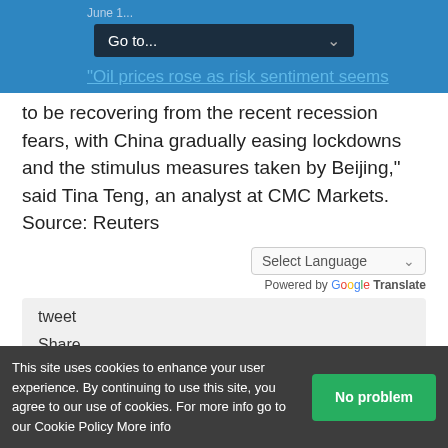June 1...
Go to...
"Oil prices rose as risk sentiment seems to be recovering from the recent recession fears, with China gradually easing lockdowns and the stimulus measures taken by Beijing," said Tina Teng, an analyst at CMC Markets. Source: Reuters
Select Language
Powered by Google Translate
tweet
Share
This site uses cookies to enhance your user experience. By continuing to use this site, you agree to our use of cookies. For more info go to our Cookie Policy More info